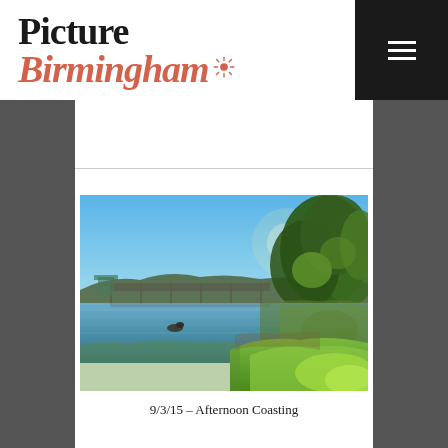Picture Birmingham
[Figure (photo): Landscape photograph of a lake or river with a bridge in the background, trees on the right side with sun glowing through them, a duck on the water, and green grass in the foreground under a clear blue sky.]
9/3/15 – Afternoon Coasting